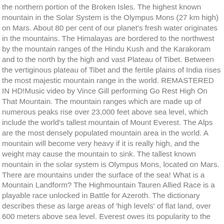the northern portion of the Broken Isles. The highest known mountain in the Solar System is the Olympus Mons (27 km high) on Mars. About 80 per cent of our planet's fresh water originates in the mountains. The Himalayas are bordered to the northwest by the mountain ranges of the Hindu Kush and the Karakoram and to the north by the high and vast Plateau of Tibet. Between the vertiginous plateau of Tibet and the fertile plains of India rises the most majestic mountain range in the world. REMASTERED IN HD!Music video by Vince Gill performing Go Rest High On That Mountain. The mountain ranges which are made up of numerous peaks rise over 23,000 feet above sea level, which include the world's tallest mountain of Mount Everest. The Alps are the most densely populated mountain area in the world. A mountain will become very heavy if it is really high, and the weight may cause the mountain to sink. The tallest known mountain in the solar system is Olympus Mons, located on Mars. There are mountains under the surface of the sea! What is a Mountain Landform? The Highmountain Tauren Allied Race is a playable race unlocked in Battle for Azeroth. The dictionary describes these as large areas of 'high levels' of flat land, over 600 meters above sea level. Everest owes its popularity to the impressive title of 'highest mountain in the world', but in reality, it isn't - not according to science..